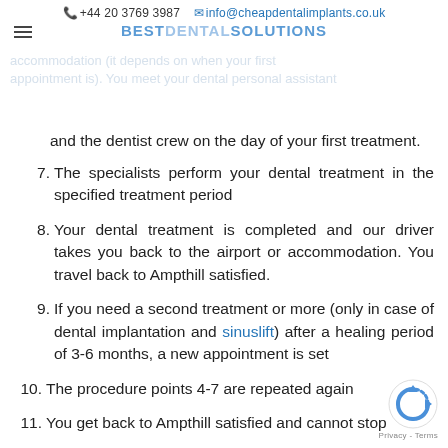+44 20 3769 3987  info@cheapdentalimplants.co.uk  BEST DENTAL SOLUTIONS
accommodation (it depends on when your first appointment is). You meet your dental personal assistant and the dentist crew on the day of your first treatment.
7. The specialists perform your dental treatment in the specified treatment period
8. Your dental treatment is completed and our driver takes you back to the airport or accommodation. You travel back to Ampthill satisfied.
9. If you need a second treatment or more (only in case of dental implantation and sinuslift) after a healing period of 3-6 months, a new appointment is set
10. The procedure points 4-7 are repeated again
11. You get back to Ampthill satisfied and cannot stop